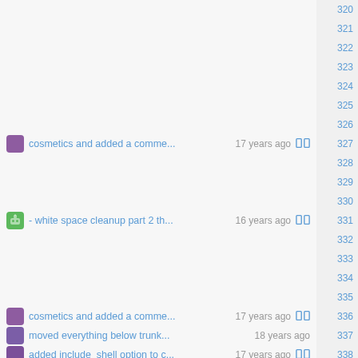320
321
322
323
cosmetics and added a comme...17 years ago  324
325
- white space cleanup part 2 th...16 years ago  326
327
328
329
330
331
332
333
334
335
336
337
cosmetics and added a comme...17 years ago  338
moved everything below trunk...18 years ago  339
added include_shell option to c...17 years ago  340
341